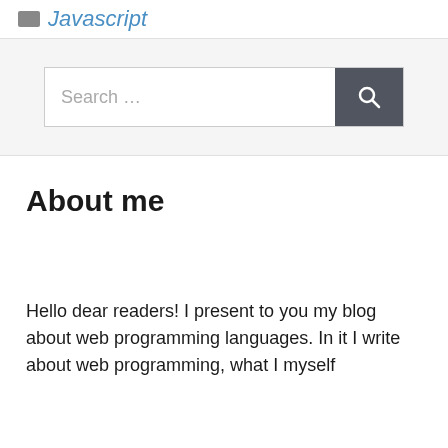Javascript
[Figure (other): Search bar with text input field showing 'Search ...' placeholder and a dark grey search button with magnifying glass icon]
About me
Hello dear readers! I present to you my blog about web programming languages. In it I write about web programming, what I myself